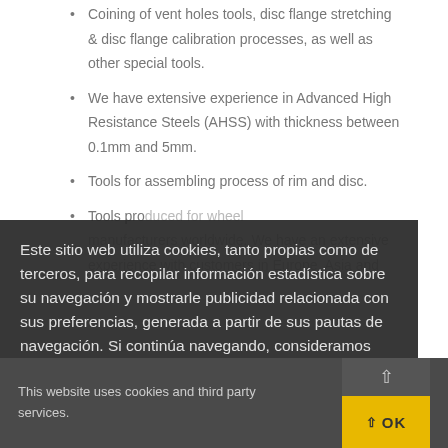Coining of vent holes tools, disc flange stretching & disc flange calibration processes, as well as other special tools.
We have extensive experience in Advanced High Resistance Steels (AHSS) with thickness between 0.1mm and 5mm.
Tools for assembling process of rim and disc.
Tools produced for wheel manufacturers worldwide. We have an extensive experience with customers in Europe, Asia and
Este sitio web utiliza cookies, tanto propias como de terceros, para recopilar información estadística sobre su navegación y mostrarle publicidad relacionada con sus preferencias, generada a partir de sus pautas de navegación. Si continúa navegando, consideramos que acepta su uso. Más información aquí.  Saber más...
This website uses cookies and third party services.